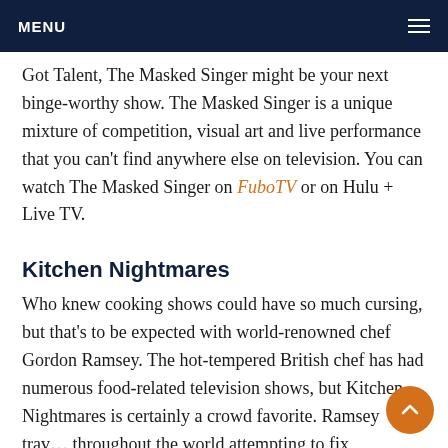MENU
Got Talent, The Masked Singer might be your next binge-worthy show. The Masked Singer is a unique mixture of competition, visual art and live performance that you can't find anywhere else on television. You can watch The Masked Singer on FuboTV or on Hulu + Live TV.
Kitchen Nightmares
Who knew cooking shows could have so much cursing, but that's to be expected with world-renowned chef Gordon Ramsey. The hot-tempered British chef has had numerous food-related television shows, but Kitchen Nightmares is certainly a crowd favorite. Ramsey travels throughout the world attempting to fix struggling